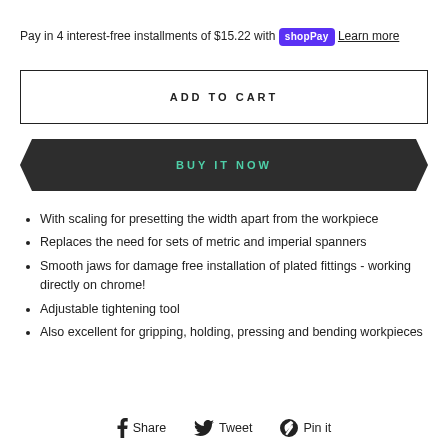Pay in 4 interest-free installments of $15.22 with shop Pay Learn more
ADD TO CART
BUY IT NOW
With scaling for presetting the width apart from the workpiece
Replaces the need for sets of metric and imperial spanners
Smooth jaws for damage free installation of plated fittings - working directly on chrome!
Adjustable tightening tool
Also excellent for gripping, holding, pressing and bending workpieces
Share  Tweet  Pin it